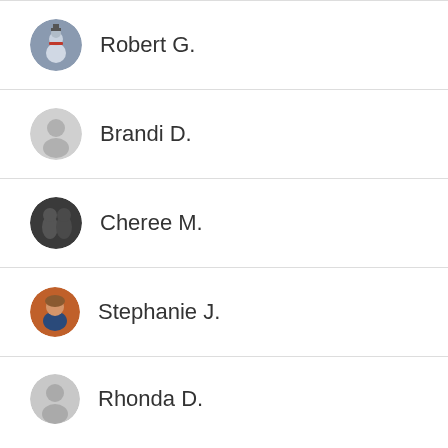Robert G.
Brandi D.
Cheree M.
Stephanie J.
Rhonda D.